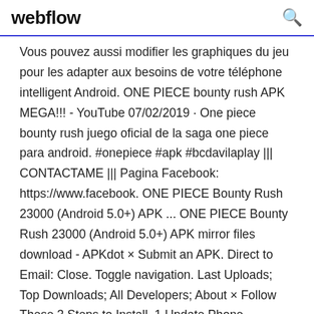webflow
Vous pouvez aussi modifier les graphiques du jeu pour les adapter aux besoins de votre téléphone intelligent Android. ONE PIECE bounty rush APK MEGA!!! - YouTube 07/02/2019 · One piece bounty rush juego oficial de la saga one piece para android. #onepiece #apk #bcdavilaplay ||| CONTACTAME ||| Pagina Facebook: https://www.facebook. ONE PIECE Bounty Rush 23000 (Android 5.0+) APK ... ONE PIECE Bounty Rush 23000 (Android 5.0+) APK mirror files download - APKdot × Submit an APK. Direct to Email: Close. Toggle navigation. Last Uploads; Top Downloads; All Developers; About × Follow These 3 Steps to Install. 1 Update Phone Settings. Go to your phone Settings